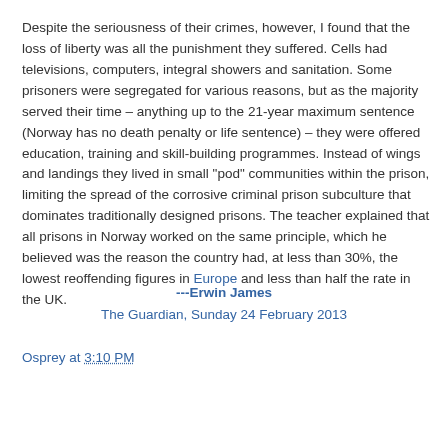Despite the seriousness of their crimes, however, I found that the loss of liberty was all the punishment they suffered. Cells had televisions, computers, integral showers and sanitation. Some prisoners were segregated for various reasons, but as the majority served their time – anything up to the 21-year maximum sentence (Norway has no death penalty or life sentence) – they were offered education, training and skill-building programmes. Instead of wings and landings they lived in small "pod" communities within the prison, limiting the spread of the corrosive criminal prison subculture that dominates traditionally designed prisons. The teacher explained that all prisons in Norway worked on the same principle, which he believed was the reason the country had, at less than 30%, the lowest reoffending figures in Europe and less than half the rate in the UK.
---Erwin James
The Guardian, Sunday 24 February 2013
Osprey at 3:10 PM
Share